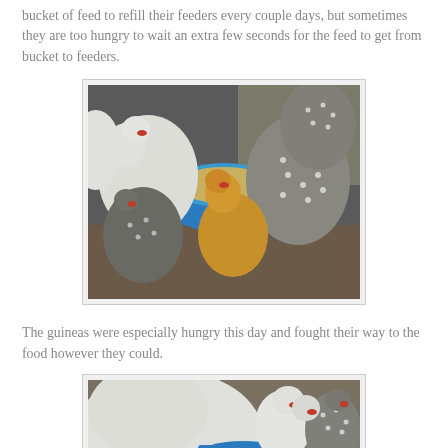bucket of feed to refill their feeders every couple days, but sometimes they are too hungry to wait an extra few seconds for the feed to get from bucket to feeders.
[Figure (photo): Multiple chickens and guinea fowl crowded around a blue feeder/bucket eating grain, viewed from above at an angle. White chickens, a golden/buff chicken, and spotted grey guinea fowl are visible.]
The guineas were especially hungry this day and fought their way to the food however they could.
[Figure (photo): Close-up of chickens and guinea fowl crowded around a blue feeder. A large white bird fills the foreground, with spotted guinea fowl and white chickens visible in the background.]